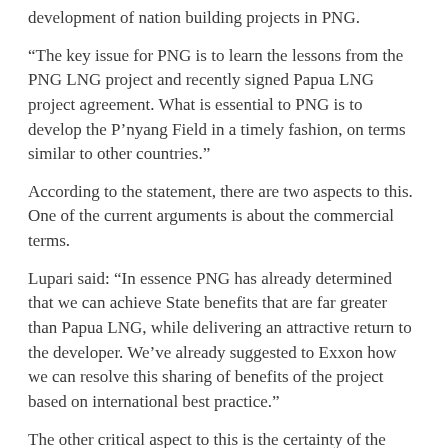development of nation building projects in PNG.
“The key issue for PNG is to learn the lessons from the PNG LNG project and recently signed Papua LNG project agreement. What is essential to PNG is to develop the P’nyang Field in a timely fashion, on terms similar to other countries.”
According to the statement, there are two aspects to this. One of the current arguments is about the commercial terms.
Lupari said: “In essence PNG has already determined that we can achieve State benefits that are far greater than Papua LNG, while delivering an attractive return to the developer. We’ve already suggested to Exxon how we can resolve this sharing of benefits of the project based on international best practice.”
The other critical aspect to this is the certainty of the field being developed, and that this occurs according to a reasonable timeline with clear milestones. And yet Exxon won’t commit to this before the Minister issues the Petroleum Development License (PDL).
Lupari added: “What Exxon has demanded is we deliver a PDL before they complete industry standard prerequisites required for a final investment decision, which could give them an excuse to defer the development.